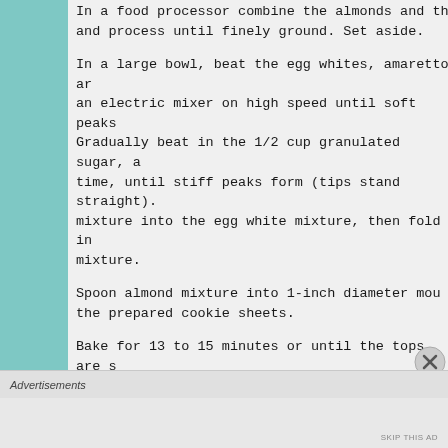In a food processor combine the almonds and process until finely ground. Set aside.
In a large bowl, beat the egg whites, amaretto and an electric mixer on high speed until soft peaks form. Gradually beat in the 1/2 cup granulated sugar, a time, until stiff peaks form (tips stand straight). mixture into the egg white mixture, then fold in mixture.
Spoon almond mixture into 1-inch diameter mounds on the prepared cookie sheets.
Bake for 13 to 15 minutes or until the tops are set. Cool cookie sheets on wire racks and remove cookies; be released from the parchment paper or foil w leave them too long, they may be difficult to
Advertisements